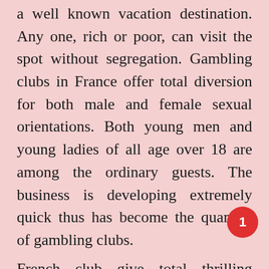a well known vacation destination. Any one, rich or poor, can visit the spot without segregation. Gambling clubs in France offer total diversion for both male and female sexual orientations. Both young men and young ladies of all age over 18 are among the ordinary guests. The business is developing extremely quick thus has become the quantity of gambling clubs.
French club give total thrilling amusement to its players online as well. There are a few invigorating special offers running on these club to invite new players. The gaming locales are completely gotten and ok for players. These club utilize most recent